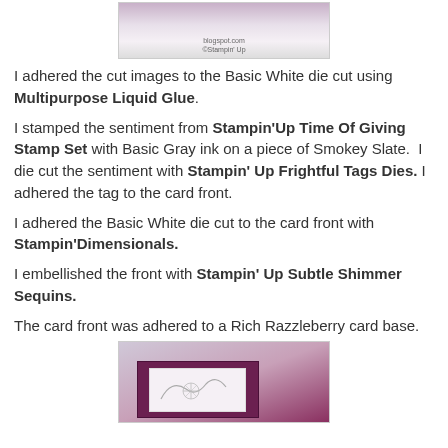[Figure (photo): Top portion of a handmade card showing stamped design with Stampin' Up branding text]
I adhered the cut images to the Basic White die cut using Multipurpose Liquid Glue.
I stamped the sentiment from Stampin'Up Time Of Giving Stamp Set with Basic Gray ink on a piece of Smokey Slate. I die cut the sentiment with Stampin' Up Frightful Tags Dies. I adhered the tag to the card front.
I adhered the Basic White die cut to the card front with Stampin'Dimensionals.
I embellished the front with Stampin' Up Subtle Shimmer Sequins.
The card front was adhered to a Rich Razzleberry card base.
[Figure (photo): Bottom portion showing a Rich Razzleberry card base with white die cut and stamped snowflake/swirl design in gray ink]